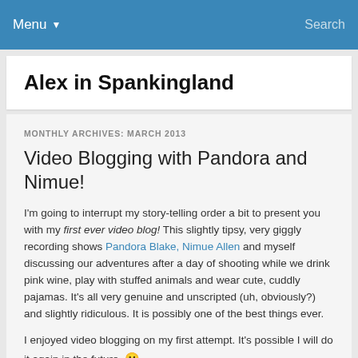Menu ▼   Search
Alex in Spankingland
MONTHLY ARCHIVES: MARCH 2013
Video Blogging with Pandora and Nimue!
I'm going to interrupt my story-telling order a bit to present you with my first ever video blog! This slightly tipsy, very giggly recording shows Pandora Blake, Nimue Allen and myself discussing our adventures after a day of shooting while we drink pink wine, play with stuffed animals and wear cute, cuddly pajamas. It's all very genuine and unscripted (uh, obviously?) and slightly ridiculous. It is possibly one of the best things ever.
I enjoyed video blogging on my first attempt. It's possible I will do it again in the future. 😀